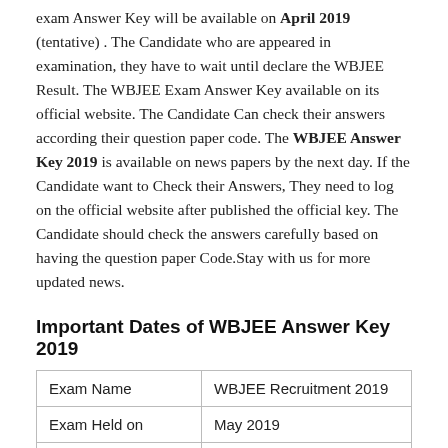exam Answer Key will be available on April 2019 (tentative) . The Candidate who are appeared in examination, they have to wait until declare the WBJEE Result. The WBJEE Exam Answer Key available on its official website. The Candidate Can check their answers according their question paper code. The WBJEE Answer Key 2019 is available on news papers by the next day. If the Candidate want to Check their Answers, They need to log on the official website after published the official key. The Candidate should check the answers carefully based on having the question paper Code.Stay with us for more updated news.
Important Dates of WBJEE Answer Key 2019
| Exam Name | WBJEE Recruitment 2019 |
| Exam Held on | May 2019 |
| Category | Answer Key |
| Status | Not yet released |